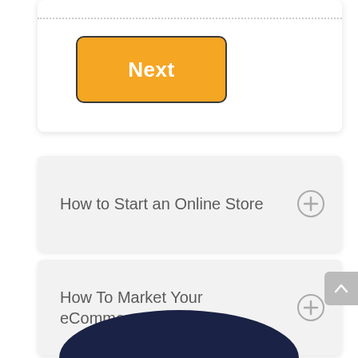[Figure (screenshot): Partial view of a white card with a dotted separator line and an orange 'Next' button with dark border]
Next
How to Start an Online Store
How To Market Your eCommerce Website?